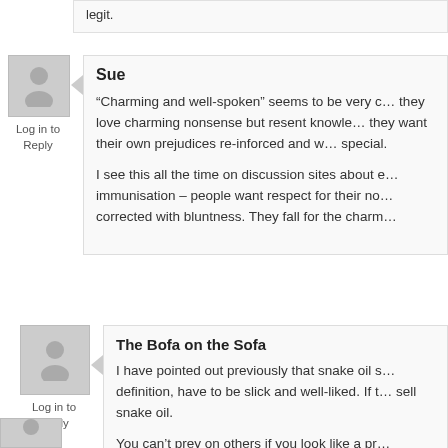legit.
Sue
“Charming and well-spoken” seems to be very c… they love charming nonsense but resent knowle… they want their own prejudices re-inforced and w… special.
I see this all the time on discussion sites about e… immunisation – people want respect for their no… corrected with bluntness. They fall for the charm…
Log in to Reply
The Bofa on the Sofa
I have pointed out previously that snake oil s… definition, have to be slick and well-liked. If t… sell snake oil.
You can’t prey on others if you look like a pr…
Log in to Reply